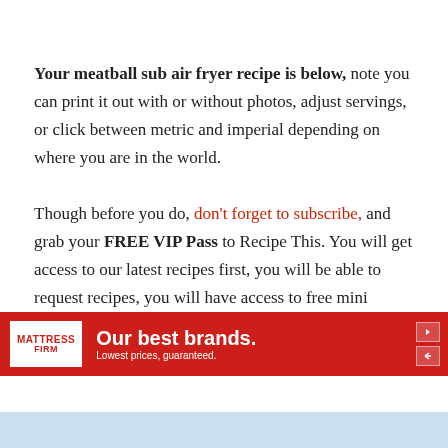Your meatball sub air fryer recipe is below, note you can print it out with or without photos, adjust servings, or click between metric and imperial depending on where you are in the world.
Though before you do, don't forget to subscribe, and grab your FREE VIP Pass to Recipe This. You will get access to our latest recipes first, you will be able to request recipes, you will have access to free mini courses, free air fryer ebooks and useful air fryer cook time charts and so much more.
[Figure (other): Mattress Firm advertisement banner: red background with white text 'Our best brands. Lowest prices, guaranteed.' and Mattress Firm logo on white box.]